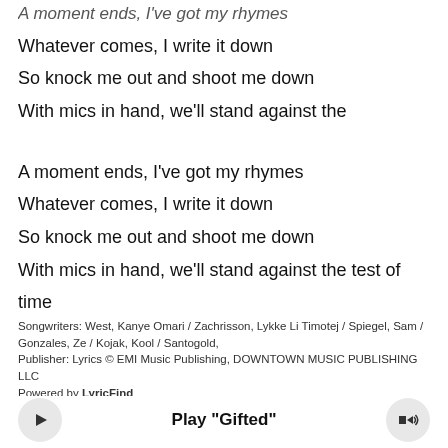A moment ends, I've got my rhymes
Whatever comes, I write it down
So knock me out and shoot me down
With mics in hand, we'll stand against the
A moment ends, I've got my rhymes
Whatever comes, I write it down
So knock me out and shoot me down
With mics in hand, we'll stand against the test of time
Songwriters: West, Kanye Omari / Zachrisson, Lykke Li Timotej / Spiegel, Sam / Gonzales, Ze / Kojak, Kool / Santogold, Publisher: Lyrics © EMI Music Publishing, DOWNTOWN MUSIC PUBLISHING LLC
Powered by LyricFind
Print
Play "Gifted"